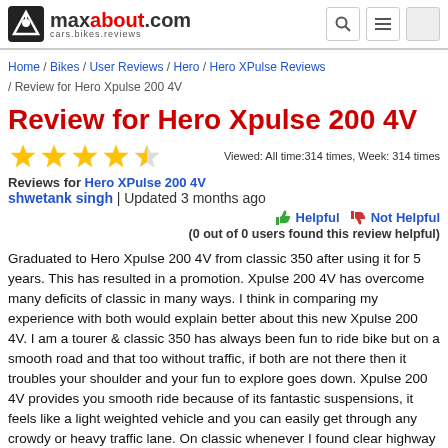maxabout.com cars.bikes.reviews
Home / Bikes / User Reviews / Hero / Hero XPulse Reviews / Review for Hero Xpulse 200 4V
Review for Hero Xpulse 200 4V
4 out of 5 stars — Viewed: All time:314 times, Week: 314 times
Reviews for Hero XPulse 200 4V
shwetank singh | Updated 3 months ago
Helpful  Not Helpful
(0 out of 0 users found this review helpful)
Graduated to Hero Xpulse 200 4V from classic 350 after using it for 5 years. This has resulted in a promotion. Xpulse 200 4V has overcome many deficits of classic in many ways. I think in comparing my experience with both would explain better about this new Xpulse 200 4V. I am a tourer & classic 350 has always been fun to ride bike but on a smooth road and that too without traffic, if both are not there then it troubles your shoulder and your fun to explore goes down. Xpulse 200 4V provides you smooth ride because of its fantastic suspensions, it feels like a light weighted vehicle and you can easily get through any crowdy or heavy traffic lane. On classic whenever I found clear highway & thought of pushing it more like 100 kmph, it cannot be done as it has vibrations on revving it more than 80 kmph and your body will be